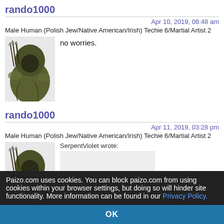rando1000
Apr 10, 2019, 06:48 am
Male Human (Polish Jew/Native American/Irish) Techie 6/Martial Artist 2
no worries.
rando1000
Apr 11, 2019, 03:28 pm
Male Human (Polish Jew/Native American/Irish) Techie 6/Martial Artist 2
SerpentViolet wrote:
Paizo.com uses cookies. You can block paizo.com from using cookies within your browser settings, but doing so will hinder site functionality. More information can be found in our Privacy Policy.
OK